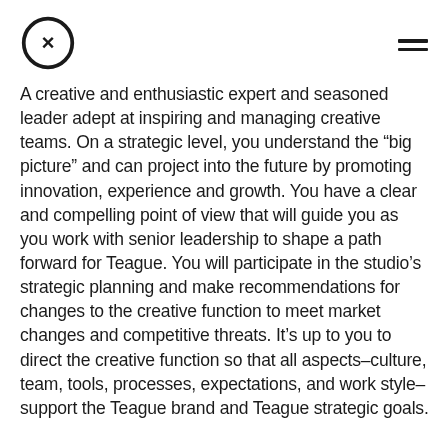[Teague logo] [hamburger menu]
A creative and enthusiastic expert and seasoned leader adept at inspiring and managing creative teams. On a strategic level, you understand the “big picture” and can project into the future by promoting innovation, experience and growth. You have a clear and compelling point of view that will guide you as you work with senior leadership to shape a path forward for Teague. You will participate in the studio’s strategic planning and make recommendations for changes to the creative function to meet market changes and competitive threats. It’s up to you to direct the creative function so that all aspects–culture, team, tools, processes, expectations, and work style–support the Teague brand and Teague strategic goals.

You come from a background of designing user